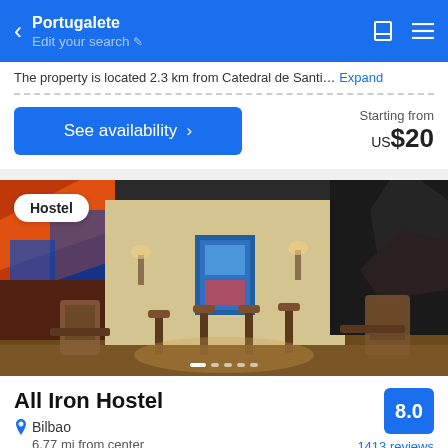Portugalete — Edit your search
The property is located 2.3 km from Catedral de Santi… Expand
See availability >    Starting from  US$20
[Figure (photo): Interior of All Iron Hostel in Bilbao, showing a large bar/common area with colorful murals, warm lighting, bar stools, and artistic wall decorations]
Hostel
All Iron Hostel
Bilbao
6.77 mi from center
8.0
1413 reviews